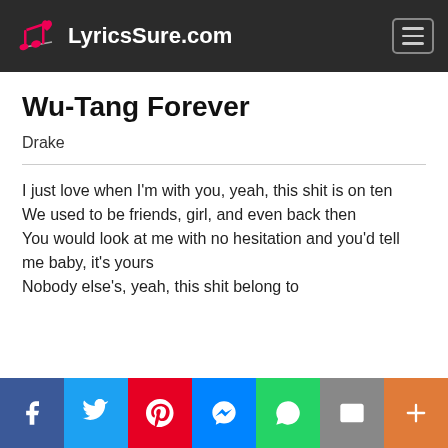LyricsSure.com
Wu-Tang Forever
Drake
I just love when I'm with you, yeah, this shit is on ten
We used to be friends, girl, and even back then
You would look at me with no hesitation and you'd tell me baby, it's yours
Nobody else's, yeah, this shit belong to
Social share bar: Facebook, Twitter, Pinterest, Messenger, WhatsApp, Email, More